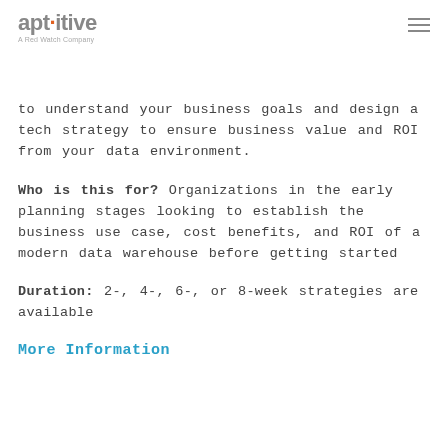apt·itive — A Red Watch Company
to understand your business goals and design a tech strategy to ensure business value and ROI from your data environment.
Who is this for? Organizations in the early planning stages looking to establish the business use case, cost benefits, and ROI of a modern data warehouse before getting started
Duration: 2-, 4-, 6-, or 8-week strategies are available
More Information